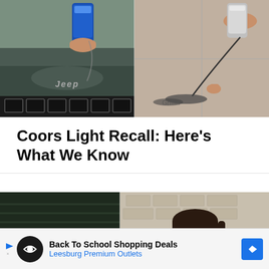[Figure (photo): Two side-by-side photos: left shows a hand holding a blue can (Coors Light) over a Jeep hood; right shows a can pouring liquid onto concrete sidewalk making dark marks]
Coors Light Recall: Here’s What We Know
[Figure (photo): Two side-by-side photos: left shows a dark-background image with a person partially visible, right shows a man with sunglasses and dark hair (resembling Johnny Depp) in front of a brick wall]
Back To School Shopping Deals Leesburg Premium Outlets